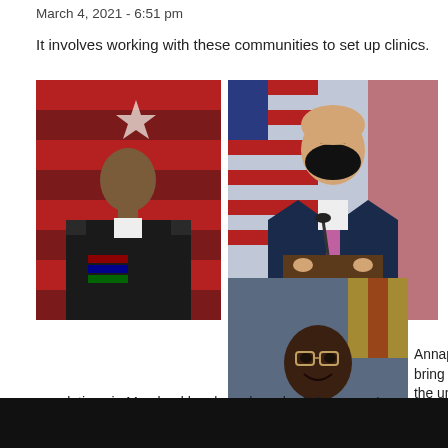March 4, 2021 - 6:51 pm
It involves working with these communities to set up clinics.
[Figure (photo): Military officer in dress uniform against red flag background]
[Figure (photo): Governor Larry Hogan at podium wearing black mask with US flags in background]
[Figure (photo): African American official in suit smiling with Maryland flag in background]
Annapolis, Md (KM) A plan to bring the COVID-19 vaccine to the underserved, hard-to-reach and vulnerable populations in Maryland has been launched. Governor Larry Hogan